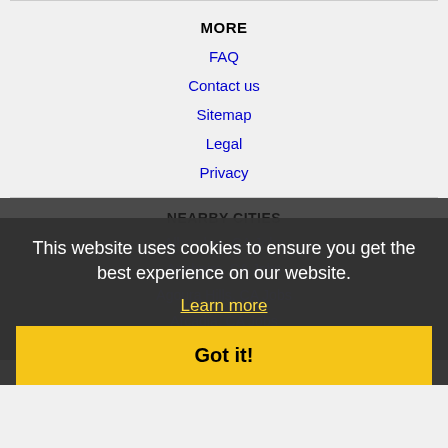MORE
FAQ
Contact us
Sitemap
Legal
Privacy
NEARBY CITIES
Alhambra, CA Jobs
Anaheim, CA Jobs
Arcadia, CA Jobs
Azusa, CA Jobs
This website uses cookies to ensure you get the best experience on our website.
Learn more
Got it!